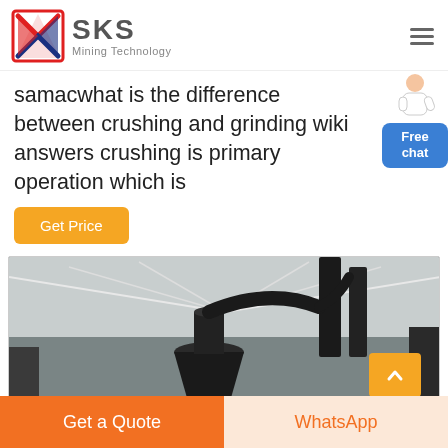SKS Mining Technology
samacwhat is the difference between crushing and grinding wiki answers crushing is primary operation which is
[Figure (other): Button widget showing a person and 'Free chat' blue button overlay on right side]
[Figure (photo): Industrial mining equipment inside a warehouse/factory building showing large cyclone/cone crushers and ductwork under a metal roof]
Get a Quote | WhatsApp